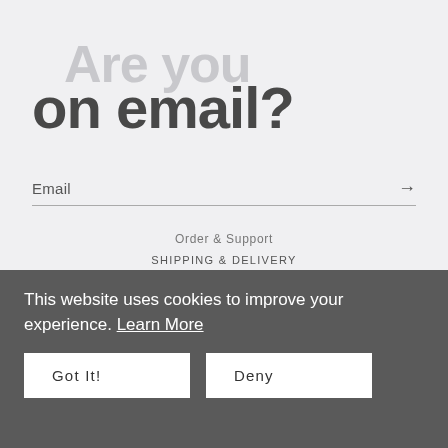Are you on email?
Email
Order & Support
SHIPPING & DELIVERY
RETURNS & REFUNDS
TERMS & CONDITIONS
PRIVACY
This website uses cookies to improve your experience. Learn More
Got It!
Deny